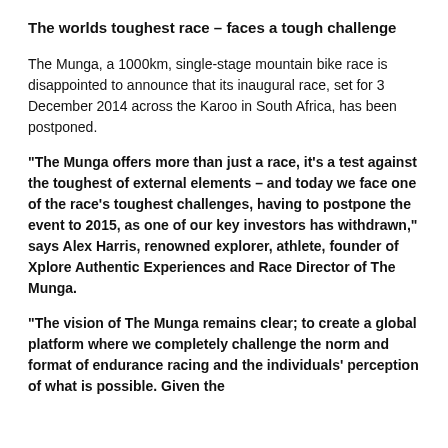The worlds toughest race – faces a tough challenge
The Munga, a 1000km, single-stage mountain bike race is disappointed to announce that its inaugural race, set for 3 December 2014 across the Karoo in South Africa, has been postponed.
“The Munga offers more than just a race, it’s a test against the toughest of external elements – and today we face one of the race’s toughest challenges, having to postpone the event to 2015, as one of our key investors has withdrawn,” says Alex Harris, renowned explorer, athlete, founder of Xplore Authentic Experiences and Race Director of The Munga.
“The vision of The Munga remains clear; to create a global platform where we completely challenge the norm and format of endurance racing and the individuals’ perception of what is possible.  Given the